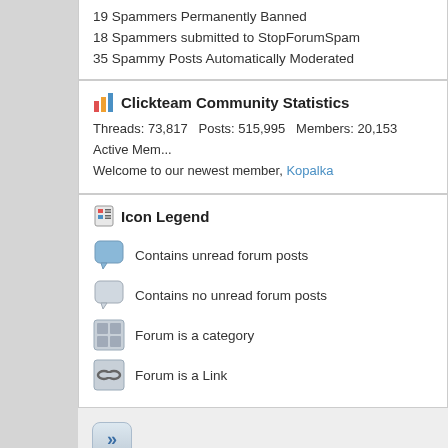19 Spammers Permanently Banned
18 Spammers submitted to StopForumSpam
35 Spammy Posts Automatically Moderated
Clickteam Community Statistics
Threads: 73,817  Posts: 515,995  Members: 20,153  Active Members
Welcome to our newest member, Kopalka
Icon Legend
Contains unread forum posts
Contains no unread forum posts
Forum is a category
Forum is a Link
Site Links
Home Page
Online Store
Tutorials
Download Center
Clickstore
Graphics, templates and more for Fusion